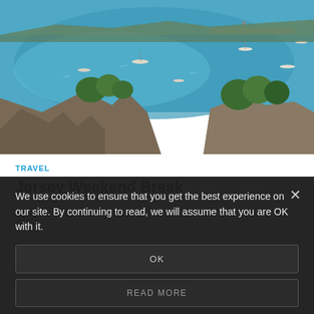[Figure (photo): Aerial coastal photograph showing a turquoise bay with boats, rocky cliffs with trees and vegetation, and a harbor or jetty in the background under blue sky.]
TRAVEL
Jersey Weekend Break
We use cookies to ensure that you get the best experience on our site. By continuing to read, we will assume that you are OK with it.
OK
READ MORE